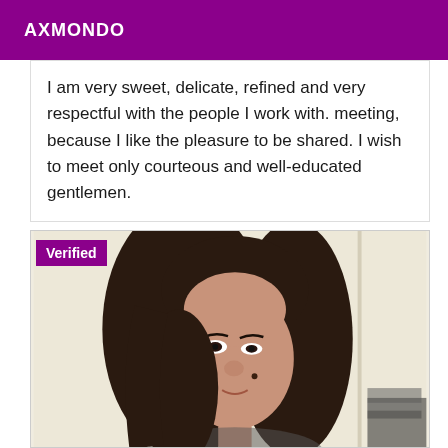AXMONDO
I am very sweet, delicate, refined and very respectful with the people I work with. meeting, because I like the pleasure to be shared. I wish to meet only courteous and well-educated gentlemen.
[Figure (photo): A woman with dark shoulder-length hair shown from the shoulders up, looking slightly downward, in a room with beige/cream walls, with a 'Verified' badge overlay in the top-left corner of the image.]